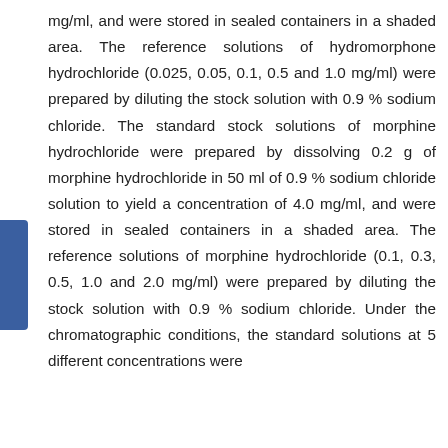mg/ml, and were stored in sealed containers in a shaded area. The reference solutions of hydromorphone hydrochloride (0.025, 0.05, 0.1, 0.5 and 1.0 mg/ml) were prepared by diluting the stock solution with 0.9 % sodium chloride. The standard stock solutions of morphine hydrochloride were prepared by dissolving 0.2 g of morphine hydrochloride in 50 ml of 0.9 % sodium chloride solution to yield a concentration of 4.0 mg/ml, and were stored in sealed containers in a shaded area. The reference solutions of morphine hydrochloride (0.1, 0.3, 0.5, 1.0 and 2.0 mg/ml) were prepared by diluting the stock solution with 0.9 % sodium chloride. Under the chromatographic conditions, the standard solutions at 5 different concentrations were